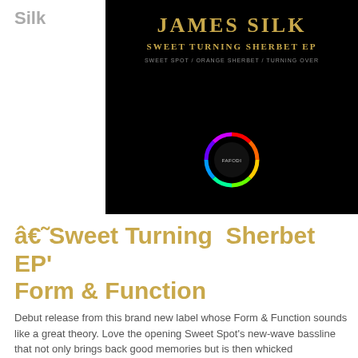Silk
[Figure (illustration): Album cover art for James Silk 'Sweet Turning Sherbet EP'. Black background with gold text 'JAMES SILK' at top, subtitle 'SWEET TURNING SHERBET EP', track listing 'SWEET SPOT / ORANGE SHERBET / TURNING OVER'. Colorful circular logo at bottom center labeled 'FAFODI'.]
â€˜Sweet Turning  Sherbet EP' Form & Function
Debut release from this brand new label whose Form & Function sounds like a great theory. Love the opening Sweet Spot's new-wave bassline that not only brings back good memories but is then whicked impressively